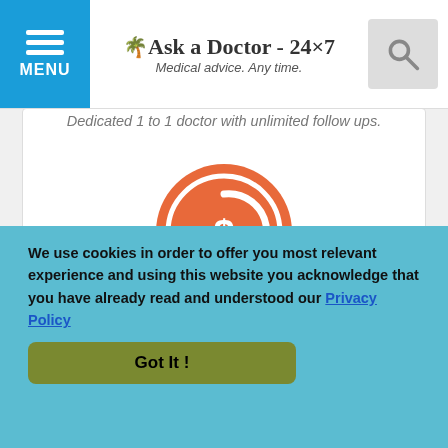Ask a Doctor - 24x7 | Medical advice. Any time.
Dedicated 1 to 1 doctor with unlimited follow ups.
[Figure (illustration): Orange circular refund icon with dollar sign and circular arrows]
100% Refund
If you are not happy we will refund your money.
Customer Feedback (last week)
1402
We use cookies in order to offer you most relevant experience and using this website you acknowledge that you have already read and understood our Privacy Policy
Got It !